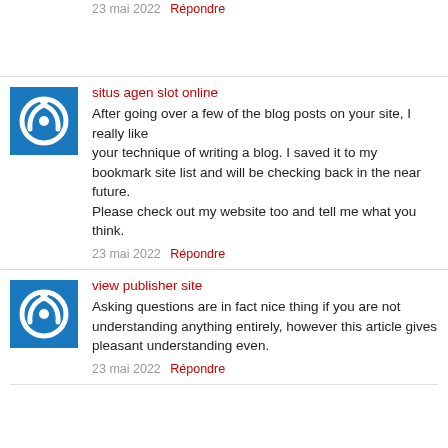23 mai 2022  Répondre
situs agen slot online
After going over a few of the blog posts on your site, I really like your technique of writing a blog. I saved it to my bookmark site list and will be checking back in the near future. Please check out my website too and tell me what you think.
23 mai 2022  Répondre
view publisher site
Asking questions are in fact nice thing if you are not understanding anything entirely, however this article gives pleasant understanding even.
23 mai 2022  Répondre